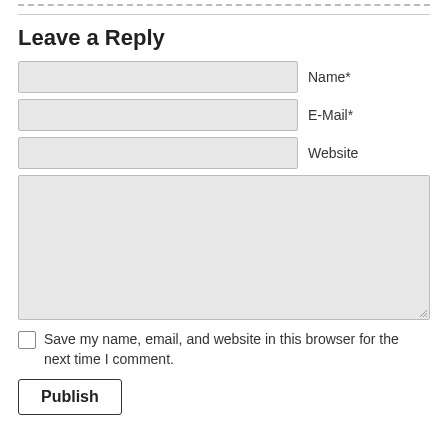Leave a Reply
Name*
E-Mail*
Website
Save my name, email, and website in this browser for the next time I comment.
Publish